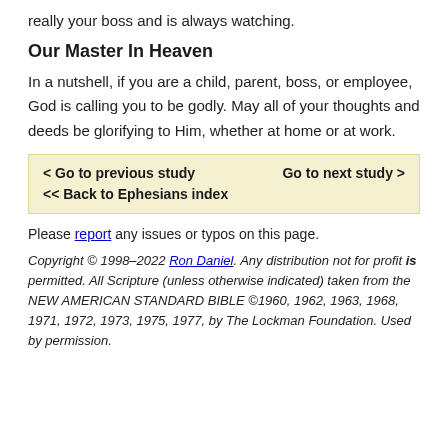really your boss and is always watching.
Our Master In Heaven
In a nutshell, if you are a child, parent, boss, or employee, God is calling you to be godly. May all of your thoughts and deeds be glorifying to Him, whether at home or at work.
< Go to previous study    Go to next study >
<< Back to Ephesians index
Please report any issues or typos on this page.
Copyright © 1998–2022 Ron Daniel. Any distribution not for profit is permitted. All Scripture (unless otherwise indicated) taken from the NEW AMERICAN STANDARD BIBLE ©1960, 1962, 1963, 1968, 1971, 1972, 1973, 1975, 1977, by The Lockman Foundation. Used by permission.